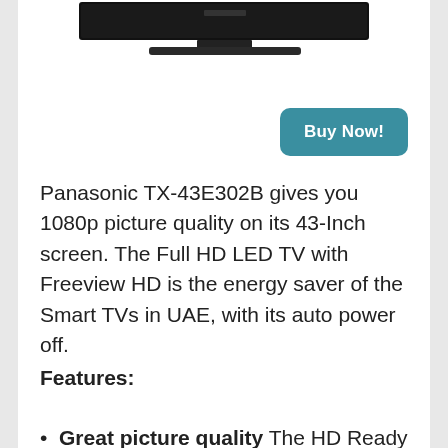[Figure (photo): Partial top view of a Panasonic flat-screen TV (bottom portion of screen and stand visible)]
[Figure (other): Buy Now! button (teal/dark cyan rounded rectangle)]
Panasonic TX-43E302B gives you 1080p picture quality on its 43-Inch screen. The Full HD LED TV with Freeview HD is the energy saver of the Smart TVs in UAE, with its auto power off.
Features:
Great picture quality The HD Ready